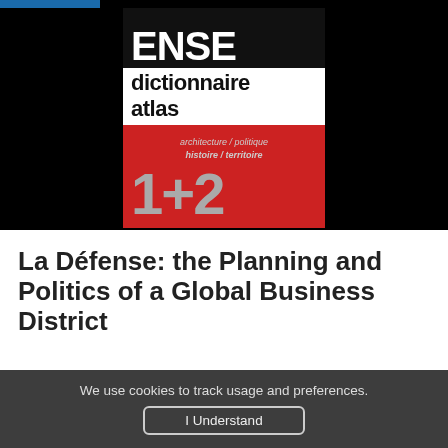[Figure (photo): Book cover of 'La Défense dictionnaire atlas' showing red and black cover design with text 'ENSE dictionnaire atlas, architecture / politique, histoire / territoire, 1+2' on a black background]
La Défense: the Planning and Politics of a Global Business District
We use cookies to track usage and preferences.
I Understand